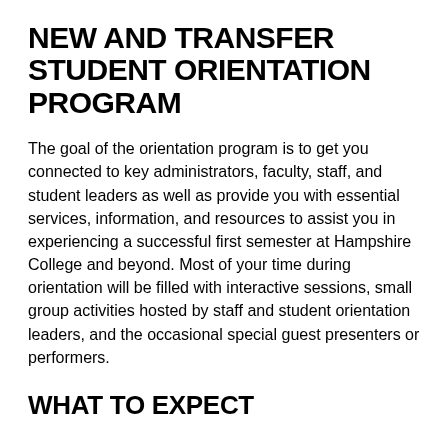NEW AND TRANSFER STUDENT ORIENTATION PROGRAM
The goal of the orientation program is to get you connected to key administrators, faculty, staff, and student leaders as well as provide you with essential services, information, and resources to assist you in experiencing a successful first semester at Hampshire College and beyond. Most of your time during orientation will be filled with interactive sessions, small group activities hosted by staff and student orientation leaders, and the occasional special guest presenters or performers.
WHAT TO EXPECT